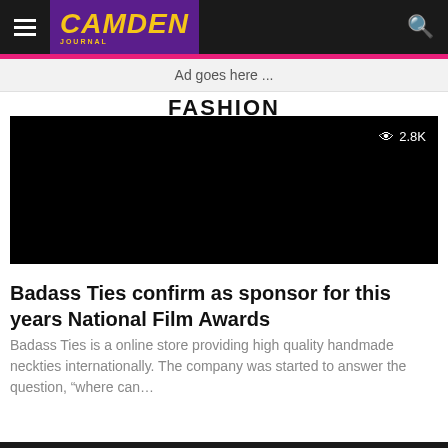CAMDEN (logo) — hamburger menu and search icon
Ad goes here ...
FASHION
[Figure (photo): Black video/image placeholder with eye icon and view count '2.8K' in top right corner]
Badass Ties confirm as sponsor for this years National Film Awards
Badass Ties is a online store providing high quality handmade neckties internationally. The company was started to answer the question, “where can…